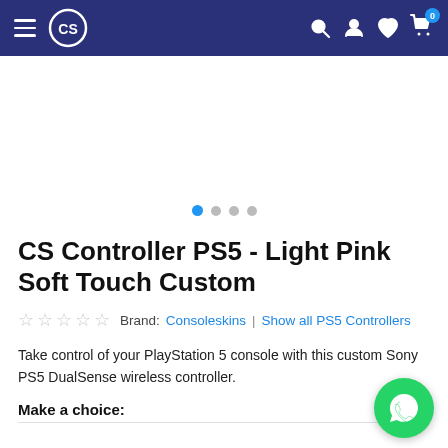CS [logo] | Search | Account | Wishlist | Cart (0)
[Figure (illustration): Product image carousel area with 4 navigation dots, first dot active (blue), others gray]
CS Controller PS5 - Light Pink Soft Touch Custom
★★★★★  Brand: Consoleskins | Show all PS5 Controllers
Take control of your PlayStation 5 console with this custom Sony PS5 DualSense wireless controller.
Make a choice:
[Figure (illustration): Green circular WhatsApp chat button with white WhatsApp phone icon]